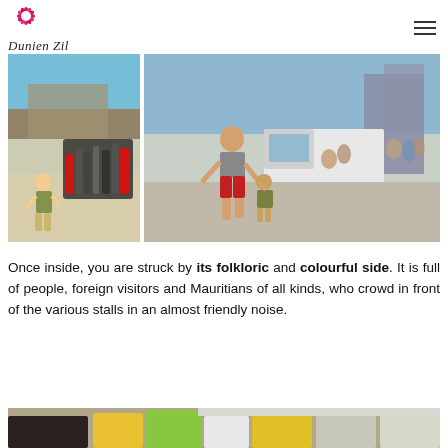Dunien Zil — Mauritius with us
[Figure (photo): Two side-by-side street market photos in Mauritius: left shows a child walking past parked motorcycles/scooters in front of market stalls; right shows a man in red shorts holding hands with a small child walking on a busy street with a white truck and crowds.]
Once inside, you are struck by its folkloric and colourful side. It is full of people, foreign visitors and Mauritians of all kinds, who crowd in front of the various stalls in an almost friendly noise.
[Figure (photo): Partial bottom photo showing colorful market stall decorations and signage in yellow and green hues.]